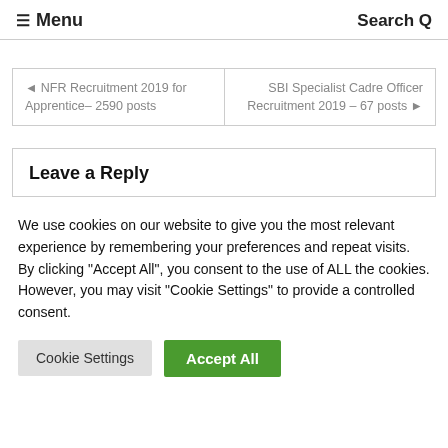≡ Menu   Search Q
◄ NFR Recruitment 2019 for Apprentice– 2590 posts   SBI Specialist Cadre Officer Recruitment 2019 – 67 posts ►
Leave a Reply
We use cookies on our website to give you the most relevant experience by remembering your preferences and repeat visits. By clicking "Accept All", you consent to the use of ALL the cookies. However, you may visit "Cookie Settings" to provide a controlled consent.
Cookie Settings   Accept All